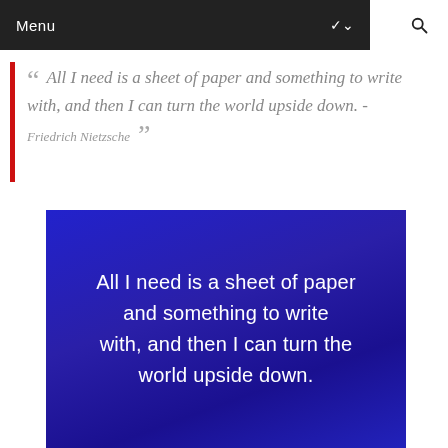Menu
All I need is a sheet of paper and something to write with, and then I can turn the world upside down. - Friedrich Nietzsche
[Figure (photo): Blue textured background image with white text reading: All I need is a sheet of paper and something to write with, and then I can turn the world upside down.]